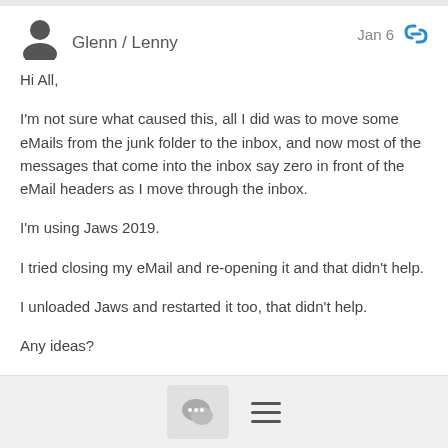Glenn / Lenny  Jan 6
Hi All,
I'm not sure what caused this, all I did was to move some eMails from the junk folder to the inbox, and now most of the messages that come into the inbox say zero in front of the eMail headers as I move through the inbox.
I'm using Jaws 2019.
I tried closing my eMail and re-opening it and that didn't help.
I unloaded Jaws and restarted it too, that didn't help.
Any ideas?
Reply / Menu buttons